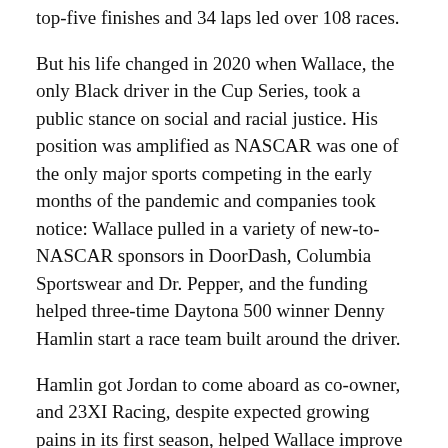top-five finishes and 34 laps led over 108 races.
But his life changed in 2020 when Wallace, the only Black driver in the Cup Series, took a public stance on social and racial justice. His position was amplified as NASCAR was one of the only major sports competing in the early months of the pandemic and companies took notice: Wallace pulled in a variety of new-to-NASCAR sponsors in DoorDash, Columbia Sportswear and Dr. Pepper, and the funding helped three-time Daytona 500 winner Denny Hamlin start a race team built around the driver.
Hamlin got Jordan to come aboard as co-owner, and 23XI Racing, despite expected growing pains in its first season, helped Wallace improve his statistics across the board. He equaled his career top-five finishes with three last season, led a career-high 62 laps and finished a career-best 21st in the standings.
23XI has since expanded to two cars and added former